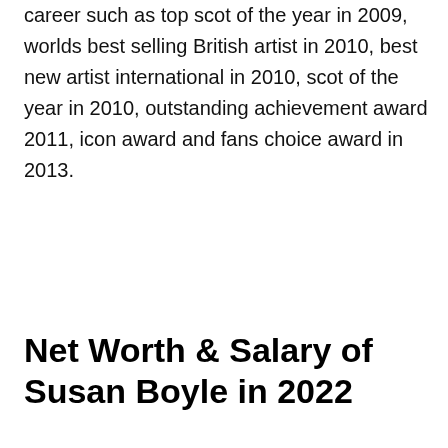career such as top scot of the year in 2009, worlds best selling British artist in 2010, best new artist international in 2010, scot of the year in 2010, outstanding achievement award 2011, icon award and fans choice award in 2013.
Net Worth & Salary of Susan Boyle in 2022
[Figure (photo): Photo of Susan Boyle smiling, wearing a sparkly grey/silver blazer and black top, with reddish-brown upswept hair, seated at what appears to be a TV studio set with pink/mauve background on the left and blue panel on the right.]